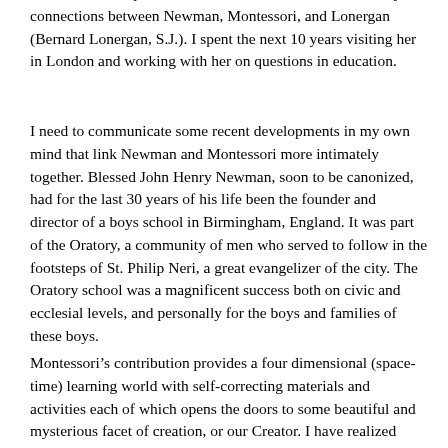told me when I spoke to her in 1998 that she had seen many connections between Newman, Montessori, and Lonergan (Bernard Lonergan, S.J.). I spent the next 10 years visiting her in London and working with her on questions in education.
I need to communicate some recent developments in my own mind that link Newman and Montessori more intimately together. Blessed John Henry Newman, soon to be canonized, had for the last 30 years of his life been the founder and director of a boys school in Birmingham, England. It was part of the Oratory, a community of men who served to follow in the footsteps of St. Philip Neri, a great evangelizer of the city. The Oratory school was a magnificent success both on civic and ecclesial levels, and personally for the boys and families of these boys.
Montessori’s contribution provides a four dimensional (space-time) learning world with self-correcting materials and activities each of which opens the doors to some beautiful and mysterious facet of creation, or our Creator. I have realized recently the scope of her contribution as